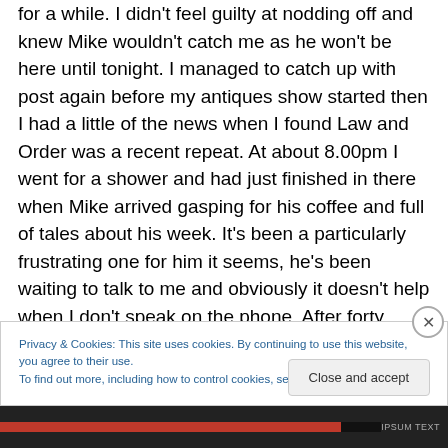for a while. I didn't feel guilty at nodding off and knew Mike wouldn't catch me as he won't be here until tonight. I managed to catch up with post again before my antiques show started then I had a little of the news when I found Law and Order was a recent repeat. At about 8.00pm I went for a shower and had just finished in there when Mike arrived gasping for his coffee and full of tales about his week. It's been a particularly frustrating one for him it seems, he's been waiting to talk to me and obviously it doesn't help when I don't speak on the phone. After forty
Privacy & Cookies: This site uses cookies. By continuing to use this website, you agree to their use.
To find out more, including how to control cookies, see here: Cookie Policy